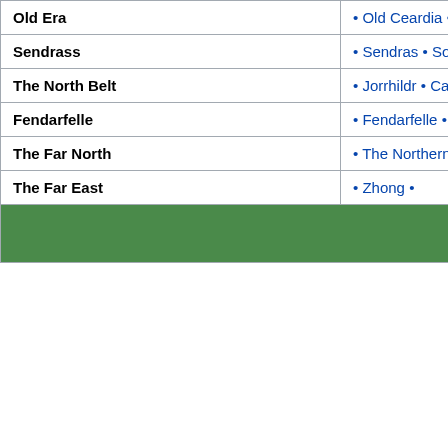| Region | Links |
| --- | --- |
| Old Era | • Old Ceardia • Ca... |
| Sendrass | • Sendras • Solang... |
| The North Belt | • Jorrhildr • Cain •... |
| Fendarfelle | • Fendarfelle • |
| The Far North | • The Northern Ex... |
| The Far East | • Zhong • |
| (green row) |  |
Accreditation
Written by Oxoman
Processed by Feyona and Catcat1305.
Category: Pages using DynamicPageList3 parser tag